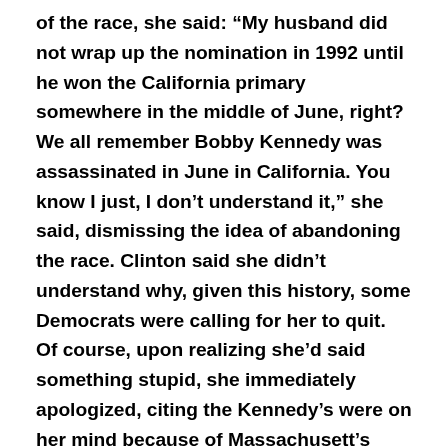of the race, she said: “My husband did not wrap up the nomination in 1992 until he won the California primary somewhere in the middle of June, right? We all remember Bobby Kennedy was assassinated in June in California. You know I just, I don’t understand it,” she said, dismissing the idea of abandoning the race. Clinton said she didn’t understand why, given this history, some Democrats were calling for her to quit. Of course, upon realizing she’d said something stupid, she immediately apologized, citing the Kennedy’s were on her mind because of Massachusett’s Senator Edward Kennedy having been diagnosed with a brain tumor. Right now, Clinton supporters are fleeing like rats deserting the proverbial sinking ship. I find it ironic that she holds Robert F. Kennedy’s former seat in New York. It will